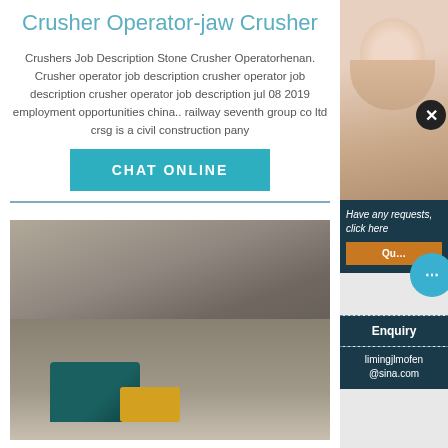Crusher Operator-jaw Crusher
Crushers Job Description Stone Crusher Operatorhenan. Crusher operator job description crusher operator job description crusher operator job description jul 08 2019 employment opportunities china.. railway seventh group co ltd crsg is a civil construction pany
[Figure (other): Teal CHAT ONLINE button]
[Figure (photo): Outdoor quarry site with crushing machinery including a teal/green jaw crusher and yellow bulldozer, surrounded by grey aggregate piles and rocky terrain]
[Figure (photo): Customer service agent (woman with headset) overlaid on sidebar with chat panel showing 'Have any requests, click here', Quote button, chat bubble icon, Enquiry section, and email limingjlmofen@sina.com]